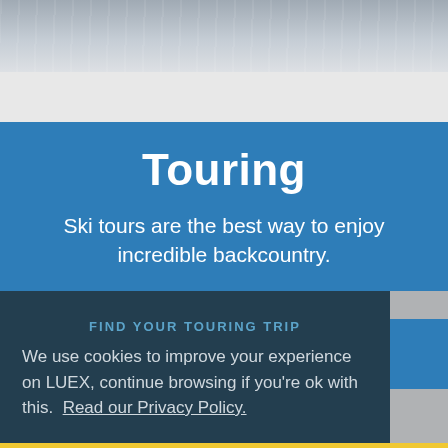[Figure (photo): Snowy mountain backcountry landscape, gray-blue tones, partial view at top of page]
Touring
Ski tours are the best way to enjoy incredible backcountry.
FIND YOUR TOURING TRIP
We use cookies to improve your experience on LUEX, continue browsing if you're ok with this. Read our Privacy Policy.
PP/NIGHT FROM US$ 185 Got it!
REQUEST YOUR FREE OFFER